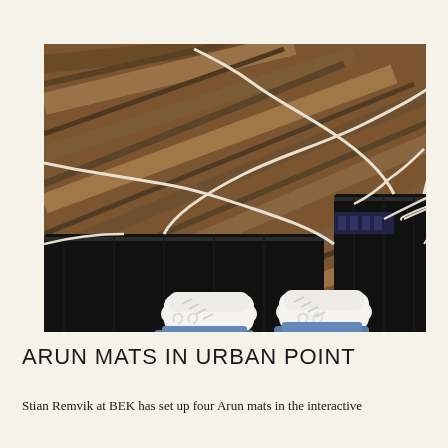[Figure (photo): Overhead view of a person's feet wearing white sneakers and blue jeans standing on a black flat mat/pad on a wooden floor. Multiple cream/white cables snake across the floor. Another black mat is visible to the right. The wooden floor has a warm walnut-toned herringbone or plank pattern.]
ARUN MATS IN URBAN POINT
Stian Remvik at BEK has set up four Arun mats in the interactive